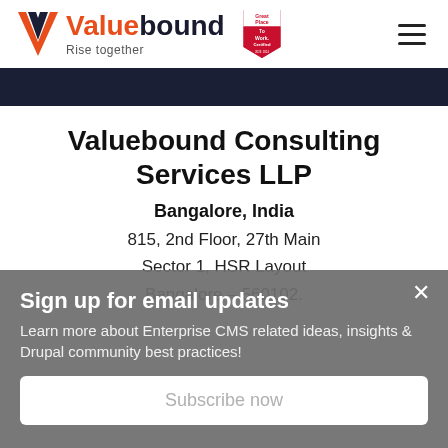[Figure (logo): Valuebound logo with orange V icon, 'Valuebound Rise together' text, and Great Place To Work Certified badge]
Valuebound Consulting Services LLP
Bangalore, India
815, 2nd Floor, 27th Main
Sector 1, HSR Layout
Bangalore – 560102.
Sign up for email updates
Learn more about Enterprise CMS related ideas, insights & Drupal community best practices!
Subscribe now